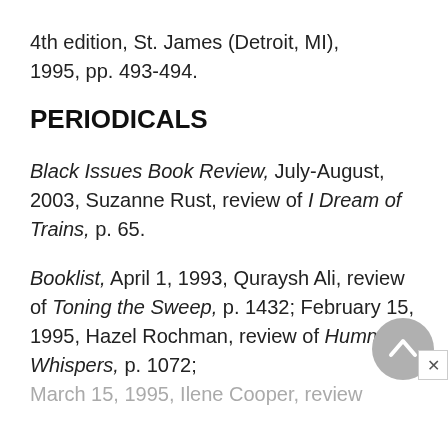4th edition, St. James (Detroit, MI), 1995, pp. 493-494.
PERIODICALS
Black Issues Book Review, July-August, 2003, Suzanne Rust, review of I Dream of Trains, p. 65.
Booklist, April 1, 1993, Quraysh Ali, review of Toning the Sweep, p. 1432; February 15, 1995, Hazel Rochman, review of Humming Whispers, p. 1072; March 15, 1995, Ilene Cooper, review